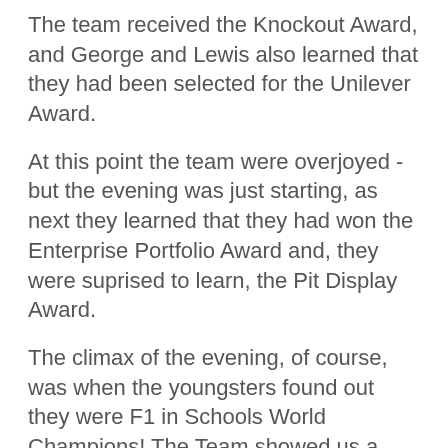The team received the Knockout Award, and George and Lewis also learned that they had been selected for the Unilever Award.
At this point the team were overjoyed - but the evening was just starting, as next they learned that they had won the Enterprise Portfolio Award and, they were suprised to learn, the Pit Display Award.
The climax of the evening, of course, was when the youngsters found out they were F1 in Schools World Champions! The Team showed us a video of the moment they learned who had won the Final; it was a lovely moment to witness.
On Day 7 the winning youngsters got a touch of fame: They had an interview with Good Morning Arabs (a popular show in the Arab world with an audience twice